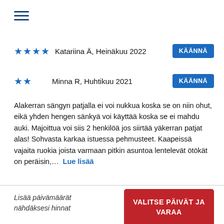[Figure (other): Hamburger menu icon (three horizontal lines in dark blue)]
★★★★  Katariina Ä, Heinäkuu 2022  KÄÄNNÄ
★★  Minna R, Huhtikuu 2021  KÄÄNNÄ
Alakerran sängyn patjalla ei voi nukkua koska se on niin ohut, eikä yhden hengen sänkyä voi käyttää koska se ei mahdu auki. Majoittua voi siis 2 henkilöä jos siirtää yäkerran patjat alas! Sohvasta karkaa istuessa pehmusteet. Kaapeissä vajaita ruokia joista varmaan pitkin asuntoa lentelevät ötökät on peräisin,…  Lue lisää
Lisää päivämäärät nähdäksesi hinnat
VALITSE PÄIVÄT JA VARAA